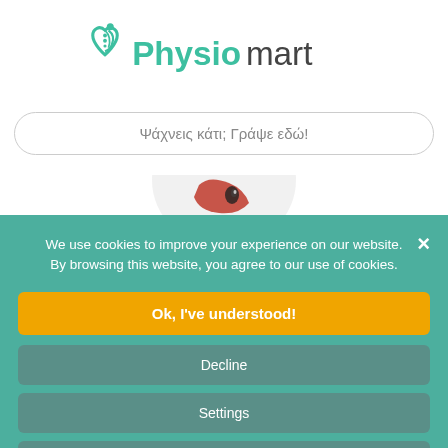[Figure (logo): Physiomart logo with green heart and spine icon, teal and dark text]
Ψάχνεις κάτι; Γράψε εδώ!
[Figure (photo): Partial view of anatomical joint/shoulder model in a circular frame]
We use cookies to improve your experience on our website. By browsing this website, you agree to our use of cookies.
Ok, I've understood!
Decline
Settings
More Info